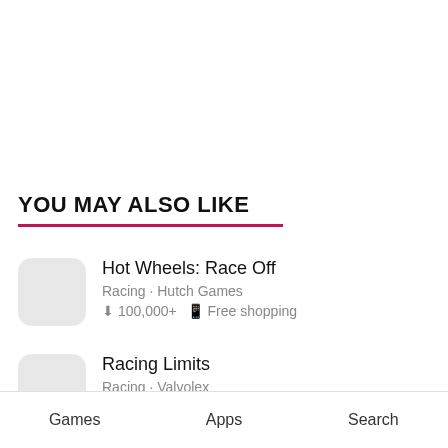YOU MAY ALSO LIKE
Hot Wheels: Race Off
Racing · Hutch Games
⬇ 100,000+   📱 Free shopping
Racing Limits
Racing · Valvolex
⬇ 50,000,000+   📱 Unlimited Money
Games   Apps   Search